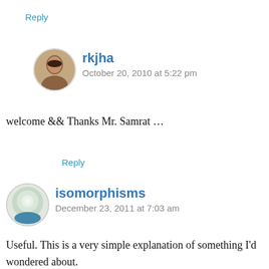Reply
rkjha
October 20, 2010 at 5:22 pm
welcome && Thanks Mr. Samrat …
Reply
isomorphisms
December 23, 2011 at 7:03 am
Useful. This is a very simple explanation of something I'd wondered about.